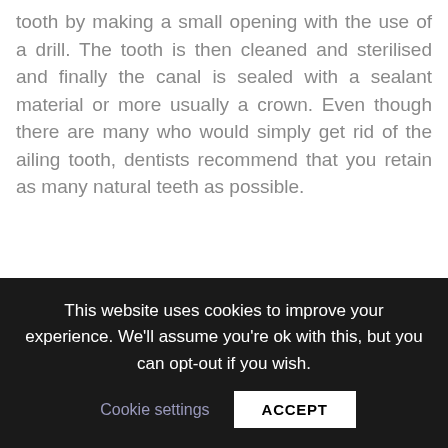tooth by making a small opening with the use of a drill. The tooth is then cleaned and sterilised and finally the canal is sealed with a sealant material or more usually a crown. Even though there are many who would simply get rid of the ailing tooth, dentists recommend that you retain as many natural teeth as possible.
Does it hurt?
Root canal treatment had a reputation for being very painful in the past. However, due
This website uses cookies to improve your experience. We'll assume you're ok with this, but you can opt-out if you wish.